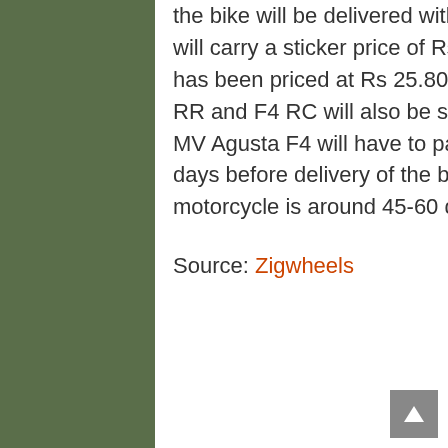the bike will be delivered with 15 days. The MV Agusta Brutale 1090 will carry a sticker price of Rs 18.04 lakh. The MV Agusta F4 range has been priced at Rs 25.80 lakh for the base variant while the F4 RR and F4 RC will also be sale in India. Prospective buyers for the MV Agusta F4 will have to pay 50 per cent of the entire amount 15 days before delivery of the bike and the total delivery time for the motorcycle is around 45-60 days.
Source: Zigwheels